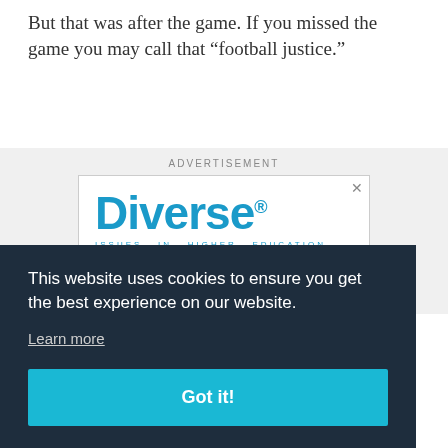But that was after the game. If you missed the game you may call that “football justice.”
ADVERTISEMENT
[Figure (illustration): Diverse: Issues in Higher Education advertisement banner with logo and slogan 'Engaging readers with inclusive, insightful & comprehensive.']
This website uses cookies to ensure you get the best experience on our website.
Learn more
Got it!
Florida State's loss in Winston